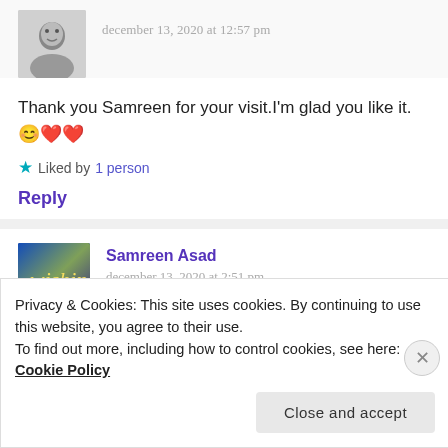december 13, 2020 at 12:57 pm
Thank you Samreen for your visit.I'm glad you like it.😊❤️❤️
Liked by 1 person
Reply
Samreen Asad
december 13, 2020 at 2:51 pm
Privacy & Cookies: This site uses cookies. By continuing to use this website, you agree to their use.
To find out more, including how to control cookies, see here: Cookie Policy
Close and accept